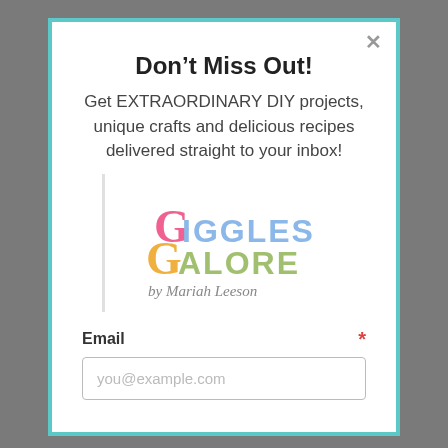Don't Miss Out!
Get EXTRAORDINARY DIY projects, unique crafts and delicious recipes delivered straight to your inbox!
[Figure (logo): Giggles Galore by Mariah Leeson logo with colorful lettering]
Email *
you@example.com